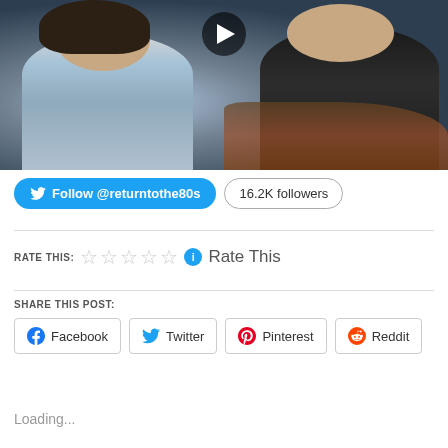[Figure (screenshot): Video thumbnail showing two people in a car with a play button overlay. A woman with dark hair on the left wearing a light blue top, and a man on the right in a dark jacket.]
Follow @returntothe80s   16.2K followers
RATE THIS:  ☆☆☆☆☆  ⓘ  Rate This
SHARE THIS POST:
Facebook   Twitter   Pinterest   Reddit
Loading...